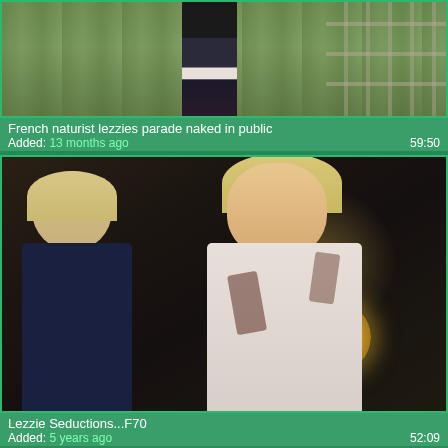[Figure (screenshot): Video thumbnail showing outdoor scene with figure in dark mini skirt against green foliage background]
French naturist lezzies parade naked in public
Added: 13 months ago  59:50
[Figure (screenshot): Video thumbnail showing two blonde women in indoor scene with warm lamp light in background]
Lezzie Seductions...F70
Added: 5 years ago  52:09